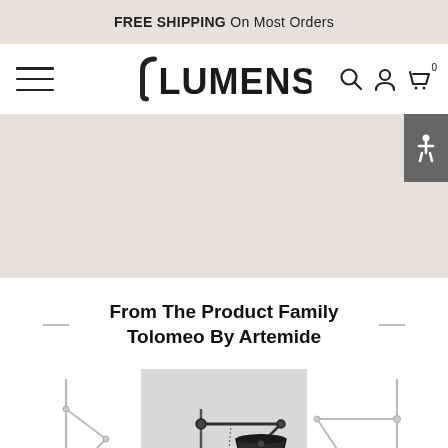FREE SHIPPING On Most Orders
[Figure (logo): LUMENS logo with stylized bracket, hamburger menu icon, search icon, account icon, and cart icon with 0 badge]
[Figure (screenshot): Search bar area with pink/beige background and accessibility button (person icon) on the right side, and a large beige hero banner area below]
From The Product Family Tolomeo By Artemide
[Figure (photo): Three Artemide Tolomeo lamps shown side by side: left lamp is a chrome floor lamp with white shade, center shows a dark/black desk lamp arm with black shade on grey background, right shows a chrome wall/floor lamp arm partially cut off]